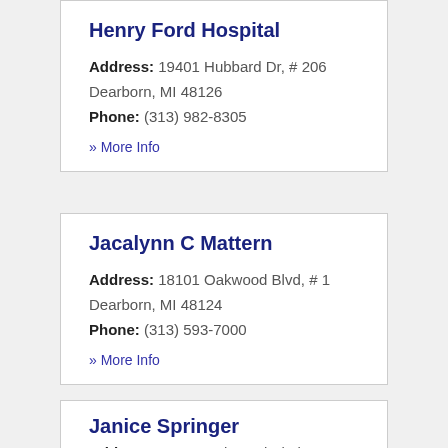Henry Ford Hospital
Address: 19401 Hubbard Dr, # 206 Dearborn, MI 48126
Phone: (313) 982-8305
» More Info
Jacalynn C Mattern
Address: 18101 Oakwood Blvd, # 1 Dearborn, MI 48124
Phone: (313) 593-7000
» More Info
Janice Springer
Address: 18101 Oakwood Blvd...